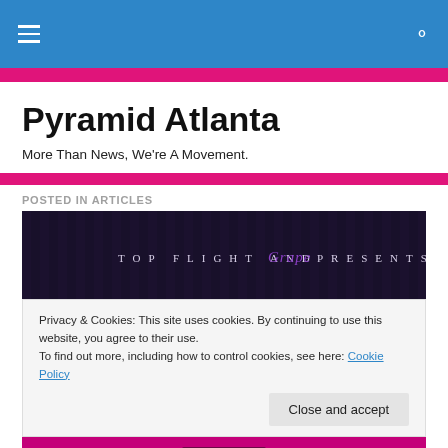Pyramid Atlanta navigation bar
Pyramid Atlanta
More Than News, We're A Movement.
POSTED IN ARTICLES
[Figure (photo): Dark banner image reading 'TOP FLIGHT AND Grape PRESENTS' with purple stylized 'Grape' text on dark curtain background]
Privacy & Cookies: This site uses cookies. By continuing to use this website, you agree to their use.
To find out more, including how to control cookies, see here: Cookie Policy
Close and accept
[Figure (photo): Bottom partial image with magenta/pink background]